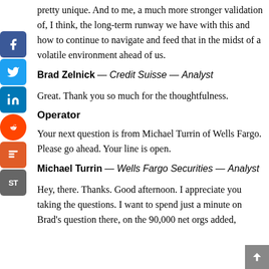pretty unique. And to me, a much more stronger validation of, I think, the long-term runway we have with this and how to continue to navigate and feed that in the midst of a volatile environment ahead of us.
Brad Zelnick — Credit Suisse — Analyst
Great. Thank you so much for the thoughtfulness.
Operator
Your next question is from Michael Turrin of Wells Fargo. Please go ahead. Your line is open.
Michael Turrin — Wells Fargo Securities — Analyst
Hey, there. Thanks. Good afternoon. I appreciate you taking the questions. I want to spend just a minute on Brad's question there, on the 90,000 net orgs added,